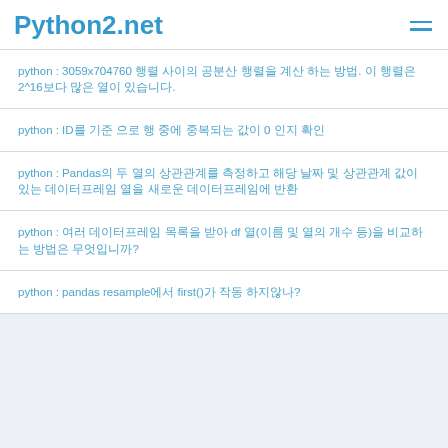Python2.net
python : 3059x704760 행렬 사이의 공분산 행렬을 계산 하는 방법. 이 행렬은 2^16보다 많은 열이 있습니다.
python : ID를 기준 으로 행 중에 중복되는 값이 0 인지 확인
python : Pandas의 두 열의 상관관계를 측정하고 해당 날짜 및 상관관계 값이 있는 데이터프레임 열을 새로운 데이터프레임에 반환
python : 여러 데이터프레임 목록을 받아 df 열(이름 및 열의 개수 등)을 비교하는 방법은 무엇입니까?
python : pandas resample에서 first()가 작동 하지않나?
© 2019 Python2.net모든 권리 보유됩니다